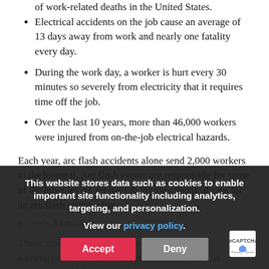of work-related deaths in the United States.
Electrical accidents on the job cause an average of 13 days away from work and nearly one fatality every day.
During the work day, a worker is hurt every 30 minutes so severely from electricity that it requires time off the job.
Over the last 10 years, more than 46,000 workers were injured from on-the-job electrical hazards.
Each year, arc flash accidents alone send 2,000 workers to the hospital. Arc flash events are responsible for some of the most severe on-the-job injuries; medical care for an arc flash victim often exceeds $1 million.
These statistics are reason enough to train the workforce on safe electrical protocol, and why su training should be a critical component of any organization's safety and health plan.